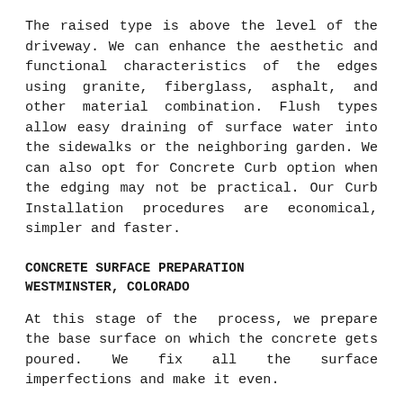The raised type is above the level of the driveway. We can enhance the aesthetic and functional characteristics of the edges using granite, fiberglass, asphalt, and other material combination. Flush types allow easy draining of surface water into the sidewalks or the neighboring garden. We can also opt for Concrete Curb option when the edging may not be practical. Our Curb Installation procedures are economical, simpler and faster.
CONCRETE SURFACE PREPARATION
WESTMINSTER, COLORADO
At this stage of the  process, we prepare the base surface on which the concrete gets poured. We fix all the surface imperfections and make it even.